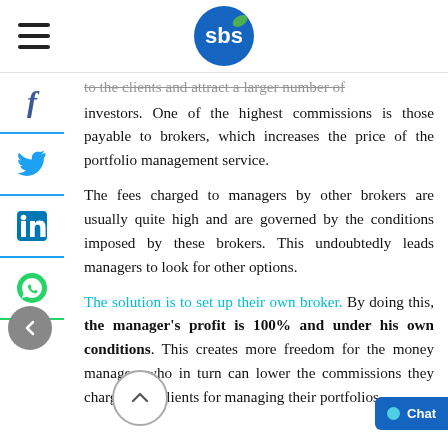SBS [logo]
to the clients and attract a larger number of investors. One of the highest commissions is those payable to brokers, which increases the price of the portfolio management service.
The fees charged to managers by other brokers are usually quite high and are governed by the conditions imposed by these brokers. This undoubtedly leads managers to look for other options.
The solution is to set up their own broker. By doing this, the manager's profit is 100% and under his own conditions. This creates more freedom for the money manager, who in turn can lower the commissions they charge their clients for managing their portfolios.